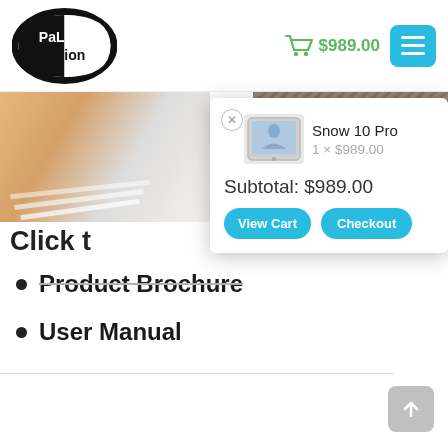[Figure (logo): Palmer Vision oval black and white logo]
$989.00
[Figure (screenshot): Shopping cart popup showing Snow 10 Pro product, 1 x $989.00, Subtotal: $989.00, View Cart and Checkout buttons]
Click t...
Product Brochure
User Manual